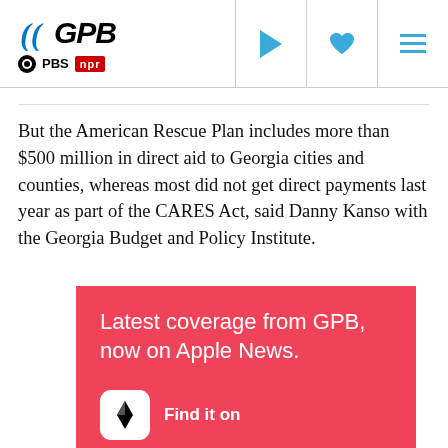GPB | PBS | NPR
But the American Rescue Plan includes more than $500 million in direct aid to Georgia cities and counties, whereas most did not get direct payments last year as part of the CARES Act, said Danny Kanso with the Georgia Budget and Policy Institute.
[Figure (infographic): Red promotional banner reading 'Latest coverage from GPB, now on Apple News.' with Apple News icon and 'Find it on' text at the bottom.]